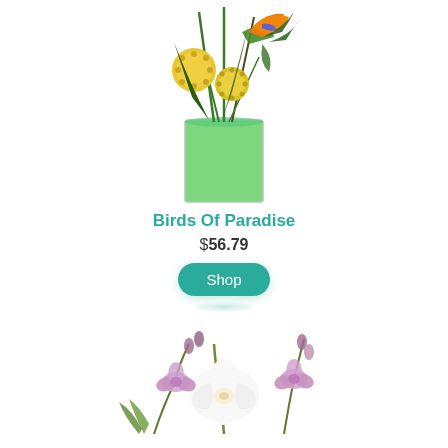[Figure (photo): Tropical flower arrangement in a green-filled glass vase featuring bird of paradise, yellow pincushion protea, and green foliage]
Birds Of Paradise
$56.79
[Figure (other): Shop button with teal rounded rectangle and glow effect]
[Figure (photo): White and purple orchid flowers arrangement partially visible at bottom of page]